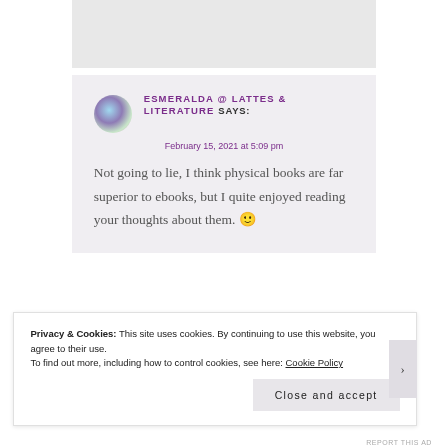[Figure (other): Gray placeholder image block at top of page]
ESMERALDA @ LATTES & LITERATURE SAYS:
February 15, 2021 at 5:09 pm

Not going to lie, I think physical books are far superior to ebooks, but I quite enjoyed reading your thoughts about them. 🙂
Privacy & Cookies: This site uses cookies. By continuing to use this website, you agree to their use.
To find out more, including how to control cookies, see here: Cookie Policy
Close and accept